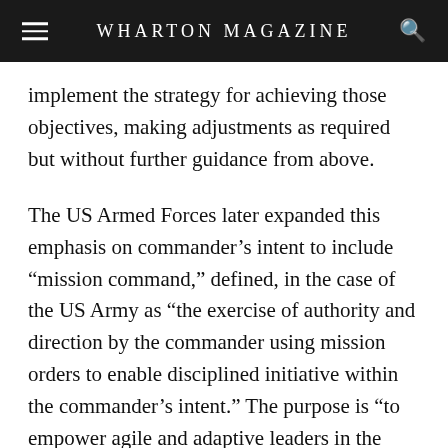WHARTON MAGAZINE
implement the strategy for achieving those objectives, making adjustments as required but without further guidance from above.
The US Armed Forces later expanded this emphasis on commander’s intent to include “mission command,” defined, in the case of the US Army as “the exercise of authority and direction by the commander using mission orders to enable disciplined initiative within the commander’s intent.” The purpose is “to empower agile and adaptive leaders in the conduct” of their duties. In the injunction of the US Chairman of the Joint Chiefs of Staff, the nation’s highest-ranking military officer, service commanders “must understand the